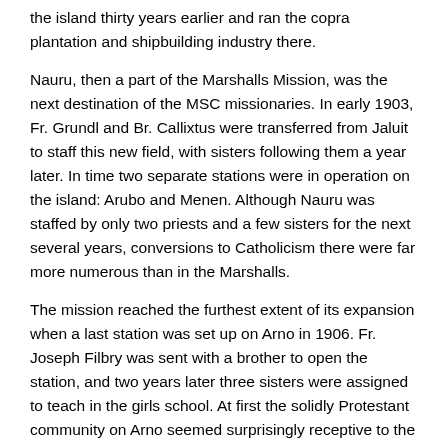the island thirty years earlier and ran the copra plantation and shipbuilding industry there.
Nauru, then a part of the Marshalls Mission, was the next destination of the MSC missionaries. In early 1903, Fr. Grundl and Br. Callixtus were transferred from Jaluit to staff this new field, with sisters following them a year later. In time two separate stations were in operation on the island: Arubo and Menen. Although Nauru was staffed by only two priests and a few sisters for the next several years, conversions to Catholicism there were far more numerous than in the Marshalls.
The mission reached the furthest extent of its expansion when a last station was set up on Arno in 1906. Fr. Joseph Filbry was sent with a brother to open the station, and two years later three sisters were assigned to teach in the girls school. At first the solidly Protestant community on Arno seemed surprisingly receptive to the Catholic school; thirty girls were enrolled during the first few months. Then, as local opposition mounted, students began withdrawing from the school. In time the sisters had to struggle to retain even three or four of their most loyal pupils, and finally there was but a single girl left. Things improved afterward–the